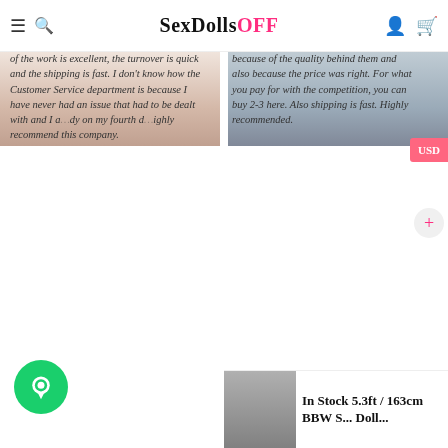SexDollsOFF
[Figure (photo): Product image left - partial body shot with white clothing]
[Figure (photo): Product image right - partial body shot with grey clothing]
★★★★★ The dolls are exactly as described, the quality of the work is excellent, the turnover is quick and the shipping is fast. I don't know how the Customer Service department is because I have never had an issue that had to be dealt with and I a… dy on my fourth d… lighly recommend this company.
★★★★★ I have purchased 2 dolls within 3 weeks because of the quality behind them and also because the price was right. For what you pay for with the competition, you can buy 2-3 here. Also shipping is fast. Highly recommended.
In Stock 5.3ft / 163cm BBW S... Doll...